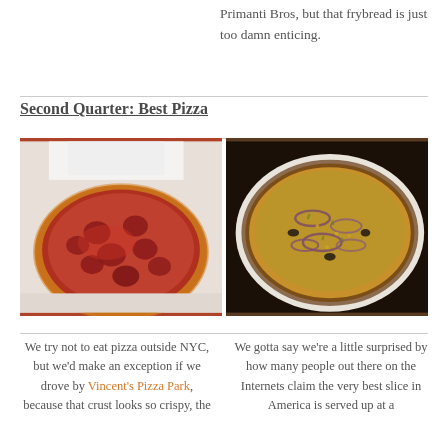Primanti Bros, but that frybread is just too damn enticing.
Second Quarter: Best Pizza
[Figure (photo): Two pizza photos side by side: left shows a thick pepperoni deep-dish style pizza with sauce, right shows a thin-crust pizza with onion rings and toppings on a dark background.]
We try not to eat pizza outside NYC, but we'd make an exception if we drove by Vincent's Pizza Park, because that crust looks so crispy, the
We gotta say we're a little surprised by how many people out there on the Internets claim the very best slice in America is served up at a